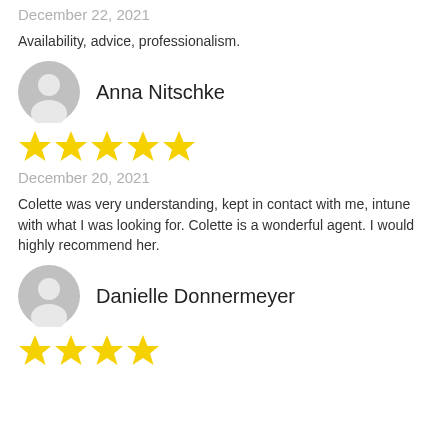December 22, 2021
Availability, advice, professionalism.
Anna Nitschke
[Figure (other): 5 yellow stars rating]
December 20, 2021
Colette was very understanding, kept in contact with me, intune with what I was looking for. Colette is a wonderful agent. I would highly recommend her.
Danielle Donnermeyer
[Figure (other): 4 yellow stars rating (partially visible)]